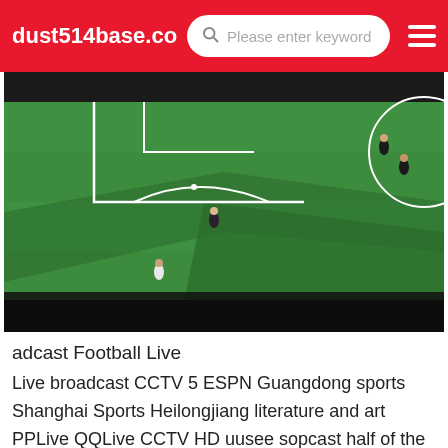dust514base.com  Please enter keyword
[Figure (photo): Aerial view of a soccer/football match on a green grass field, showing players and field markings including a penalty area arc, viewed from above with shadows cast across the pitch.]
adcast Football Live
Live broadcast CCTV 5 ESPN Guangdong sports Shanghai Sports Heilongjiang literature and art PPLive QQLive CCTV HD uusee sopcast half of the matches don't turn very good. I think CCTV 5's Serie A is to buy the home broadcasting right of the bottom ranked Serie A League, just like MilanWhat